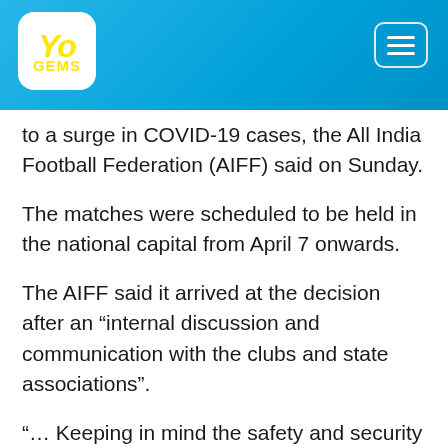YoGems logo and menu
to a surge in COVID-19 cases, the All India Football Federation (AIFF) said on Sunday.
The matches were scheduled to be held in the national capital from April 7 onwards.
The AIFF said it arrived at the decision after an “internal discussion and communication with the clubs and state associations”.
“… Keeping in mind the safety and security of players and officials in view of the rise in COVID-19 cases all over the country, the play-offs for the Hero